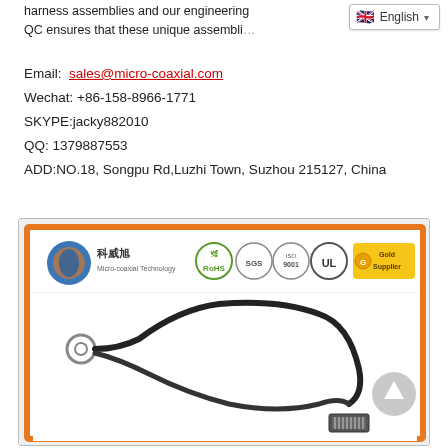harness assemblies and our engineering ... QC ensures that these unique assemblies ... properly
Email: sales@micro-coaxial.com
Wechat: +86-158-8966-1771
SKYPE:jacky882010
QQ: 1379887553
ADD:NO.18, Songpu Rd,Luzhi Town, Suzhou 215127, China
[Figure (photo): Product photo of a micro-coaxial cable harness assembly with ring terminal on one end and a multi-pin connector on the other, shown against a white background. Header shows Micro-Coaxial Technology company logos including RoHS, SGS, ISO 9001, UL, and Gold Supplier badges.]